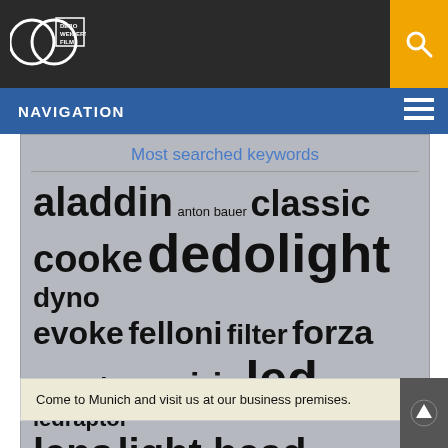Debo Weigert Film logo and search
NAVIGATION
[Figure (infographic): Word cloud showing most searched keywords including: aladdin, anton bauer, classic, cooke, dedolight, dyno, evoke, felloni, filter, forza, high speed, imager, irix, led, ledraptor, lens, light head, lightstream, mosaic, parallel, reflector, rigs, tiffen, tubes]
Come to Munich and visit us at our business premises.